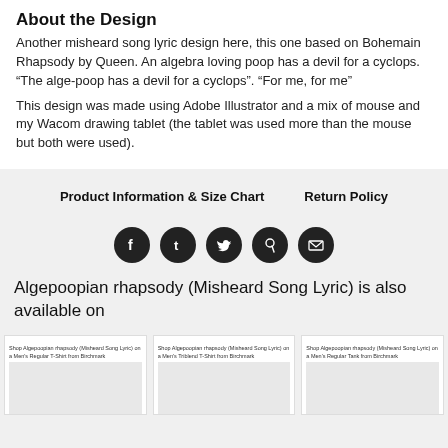About the Design
Another misheard song lyric design here, this one based on Bohemain Rhapsody by Queen. An algebra loving poop has a devil for a cyclops. “The alge-poop has a devil for a cyclops”. “For me, for me”
This design was made using Adobe Illustrator and a mix of mouse and my Wacom drawing tablet (the tablet was used more than the mouse but both were used).
Product Information & Size Chart
Return Policy
[Figure (infographic): Row of 5 social media share icons (Facebook, Tumblr, Twitter, Pinterest, Email) as dark circular buttons]
Algepoopian rhapsody (Misheard Song Lyric) is also available on
Shop Algepoopian rhapsody (Misheard Song Lyric) on a Men’s Regular T-Shirt from Birchmark
Shop Algepoopian rhapsody (Misheard Song Lyric) on a Men’s Triblend T-Shirt from Birchmark
Shop Algepoopian rhapsody (Misheard Song Lyric) on a Men’s Regular Tank from Birchmark